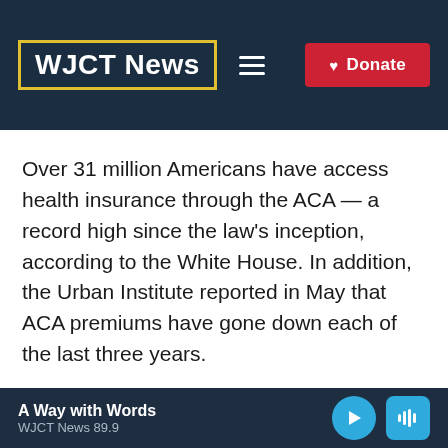WJCT News — Donate
Over 31 million Americans have access health insurance through the ACA — a record high since the law's inception, according to the White House. In addition, the Urban Institute reported in May that ACA premiums have gone down each of the last three years.
Many of the provisions of the ACA are now
A Way with Words — WJCT News 89.9